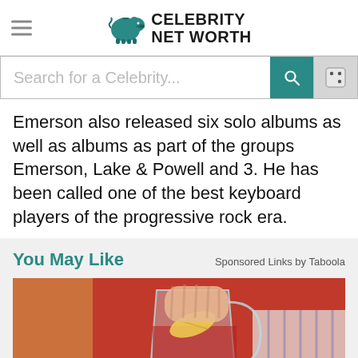Celebrity Net Worth
Emerson also released six solo albums as well as albums as part of the groups Emerson, Lake & Powell and 3. He has been called one of the best keyboard players of the progressive rock era.
You May Like
Sponsored Links by Taboola
[Figure (photo): A person in a red outfit placing a lemon slice into a clear glass pitcher of red liquid, with another glass in the foreground.]